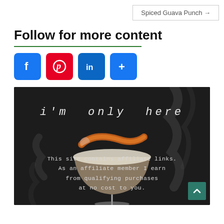Spiced Guava Punch →
Follow for more content
[Figure (infographic): Social media follow buttons: Facebook (blue), Pinterest (red), LinkedIn (blue), More/Plus (blue)]
[Figure (photo): Dark background cocktail image with smoke, orange peel garnish on a coupe glass with white foam and amber liquid. Text overlay reads: i'm only here. Bottom text: This site contains affiliate links. As an affiliate member I earn from qualifying purchases at no cost to you.]